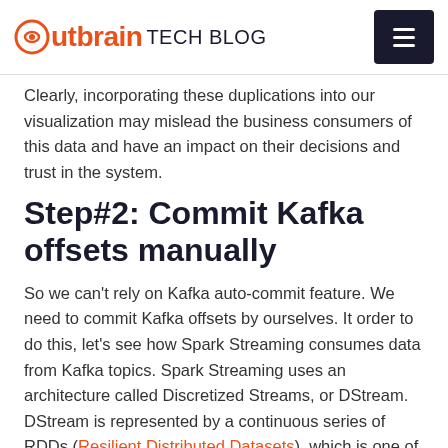Outbrain TECH BLOG
Clearly, incorporating these duplications into our visualization may mislead the business consumers of this data and have an impact on their decisions and trust in the system.
Step#2: Commit Kafka offsets manually
So we can't rely on Kafka auto-commit feature. We need to commit Kafka offsets by ourselves. It order to do this, let's see how Spark Streaming consumes data from Kafka topics. Spark Streaming uses an architecture called Discretized Streams, or DStream. DStream is represented by a continuous series of RDDs (Resilient Distributed Datasets), which is one of the Spark's main abstractions. Most Spark Streaming jobs look